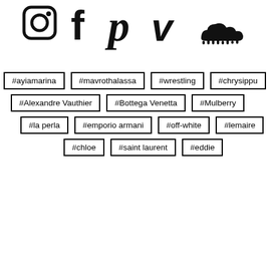[Figure (illustration): Social media icons row: Instagram camera icon, Facebook 'f' icon, Pinterest 'p' icon, Vimeo 'v' icon, SoundCloud cloud-wave icon]
#ayiamarina
#mavrothalassa
#wrestling
#chrysippu
#Alexandre Vauthier
#Bottega Venetta
#Mulberry
#la perla
#emporio armani
#off-white
#lemaire
#chloe
#saint laurent
#eddie